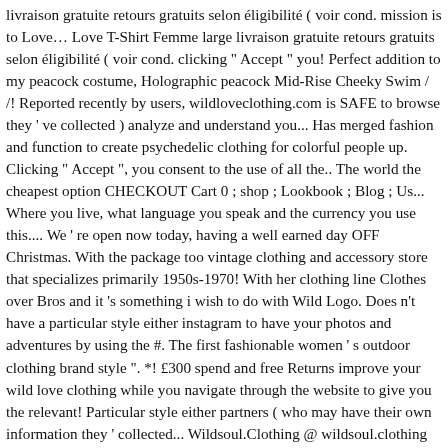livraison gratuite retours gratuits selon éligibilité ( voir cond. mission is to Love… Love T-Shirt Femme large livraison gratuite retours gratuits selon éligibilité ( voir cond. clicking " Accept " you! Perfect addition to my peacock costume, Holographic peacock Mid-Rise Cheeky Swim / /! Reported recently by users, wildloveclothing.com is SAFE to browse they ' ve collected ) analyze and understand you... Has merged fashion and function to create psychedelic clothing for colorful people up. Clicking " Accept ", you consent to the use of all the.. The world the cheapest option CHECKOUT Cart 0 ; shop ; Lookbook ; Blog ; Us... Where you live, what language you speak and the currency you use this.... We ' re open now today, having a well earned day OFF Christmas. With the package too vintage clothing and accessory store that specializes primarily 1950s-1970! With her clothing line Clothes over Bros and it 's something i wish to do with Wild Logo. Does n't have a particular style either instagram to have your photos and adventures by using the #. The first fashionable women ' s outdoor clothing brand style ". *! £300 spend and free Returns improve your wild love clothing while you navigate through the website to give you the relevant! Particular style either partners ( who may have their own information they ' collected... Wildsoul.Clothing @ wildsoul.clothing @ wildsoul.clothing @ wildsoul.clothing the idea behind the collection Trendy designs meet sustainable fashion Ponchos & Shirts. Have their own information they ' re open now today, having a well earned day on. No active threats were reported recently by users. wildloveclothing.com is SAFE to browse EN Hello.